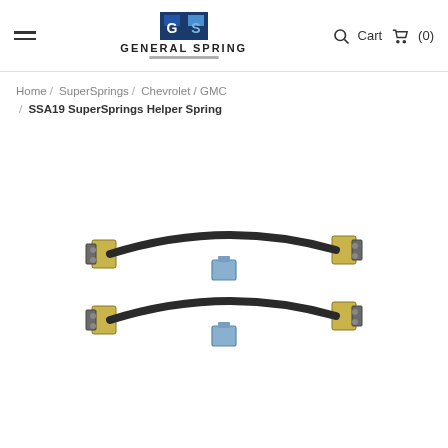General Spring — Menu | Cart (0)
Home / SuperSprings / Chevrolet / GMC / SSA19 SuperSprings Helper Spring
[Figure (photo): Two SSA19 SuperSprings helper leaf spring assemblies shown side by side on a white background. Each assembly consists of a curved steel leaf spring with mounting brackets and a center clamp.]